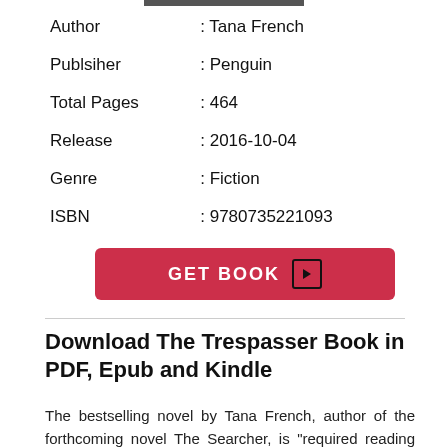| Author | : Tana French |
| Publsiher | : Penguin |
| Total Pages | : 464 |
| Release | : 2016-10-04 |
| Genre | : Fiction |
| ISBN | : 9780735221093 |
[Figure (other): GET BOOK button with play arrow icon, red background]
Download The Trespasser Book in PDF, Epub and Kindle
The bestselling novel by Tana French, author of the forthcoming novel The Searcher, is "required reading for anyone who appreciates tough,